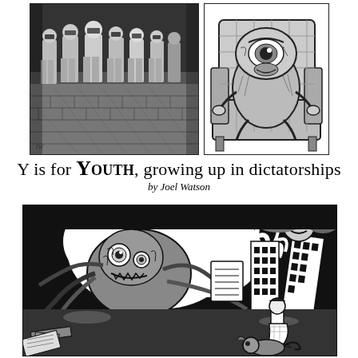[Figure (illustration): Two black-and-white illustrations side by side at top: left shows a group of uniformed youths/soldiers marching on a cobblestone street; right shows a frog-like creature sitting in an armchair.]
Y is for YOUTH, growing up in dictatorships
by Joel Watson
[Figure (illustration): Large black-and-white illustration at bottom showing a monstrous creature looming over a cityscape with buildings, dark clouds, and a small girl figure in the foreground — surreal political allegory artwork.]